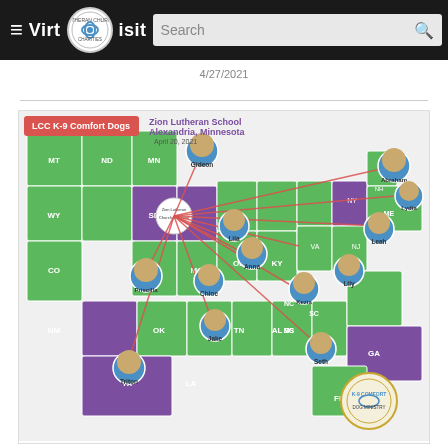Virtual Visit — Lutheran Church Charities website header with search bar
4/27/2021
[Figure (map): LCC K-9 Comfort Dogs map of the United States showing Zion Lutheran School, Alexandria, Minnesota on April 20, 2021. The map shows comfort dogs deployed at various locations across the US, connected by red lines radiating from Alexandria, MN. Dogs shown: Gideon (MN), Abraham (ME area), Lydia (MA/CT), Leah (NJ area), Lily (NC), Kezia (NC/VA), Anna (OH), Chloe (IN area), Jake (TN/AL), Seth (GA/SC), Triton (TX), Priscilla (CO). States colored green and purple on the map.]